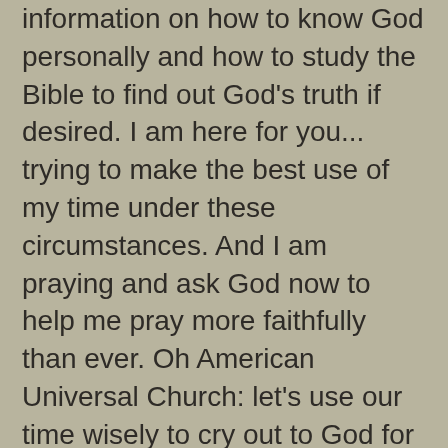information on how to know God personally and how to study the Bible to find out God's truth if desired. I am here for you... trying to make the best use of my time under these circumstances.  And I am praying and ask God now to help me pray more faithfully than ever. Oh American Universal Church: let's use our time wisely to cry out to God for mercy upon our world.
Lastly, fellow Christ believers, we have nothing to fear since our eternal destiny is secured for us.  Unbelievers have everything to fear.
Luke 12:4-6 English Standard Version (ESV)